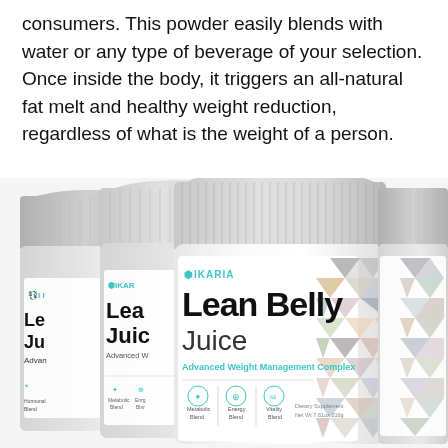consumers. This powder easily blends with water or any type of beverage of your selection. Once inside the body, it triggers an all-natural fat melt and healthy weight reduction, regardless of what is the weight of a person.
[Figure (photo): Multiple containers of Ikaria Lean Belly Juice Advanced Weight Management Complex supplement powder arranged in a row, with the center jar most prominent. Labels show brand name IKARIA, product name Lean Belly Juice, subtitle Advanced Weight Management Complex, with icons for Metabolic Blend, Energy Blend, Vitality Blend, and text Dietary Supplement Net Wt 7.61oz 216g. Decorative triangular mosaic pattern on right side of jars.]